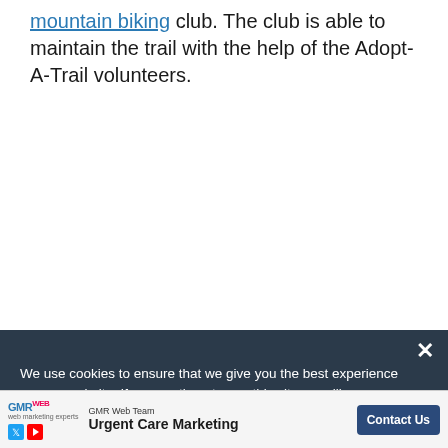mountain biking club. The club is able to maintain the trail with the help of the Adopt-A-Trail volunteers.
We use cookies to ensure that we give you the best experience on our website. If you continue to use this site we will assume that you are happy with it.
[Figure (other): GMR Web Team advertisement banner for Urgent Care Marketing with a Contact Us button]